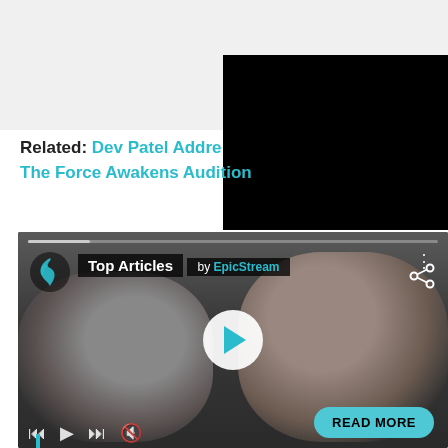[Figure (screenshot): Gray background top section of a webpage]
[Figure (photo): Black rectangle overlay on right side]
Related: Dev Patel Addre The Force Awakens Audition
[Figure (screenshot): Video player showing two people (man and woman). Overlay shows Top Articles by EpicStream badge, play button, media controls, and READ MORE button.]